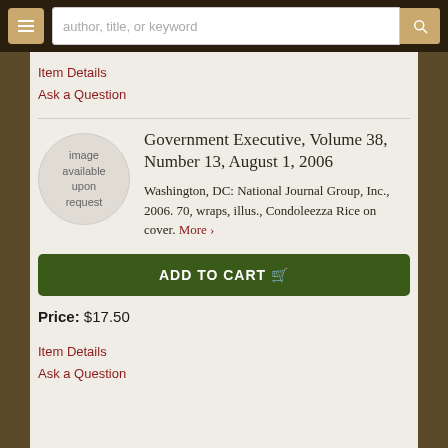author, title, or keyword
Item Details
Ask a Question
[Figure (illustration): Circular placeholder image with text 'image available upon request']
Government Executive, Volume 38, Number 13, August 1, 2006
Washington, DC: National Journal Group, Inc., 2006. 70, wraps, illus., Condoleezza Rice on cover. More ›
ADD TO CART
Price: $17.50
Item Details
Ask a Question